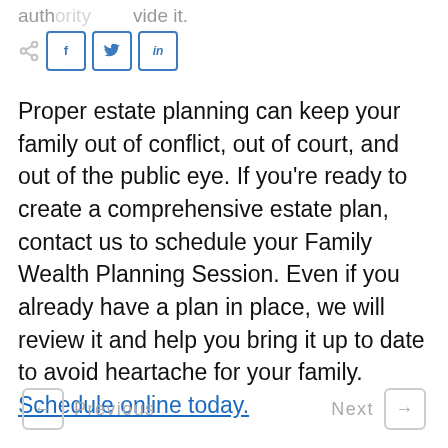auth... vide it.
[Figure (other): Social share icons: share button, Facebook (f), Twitter (bird), LinkedIn (in)]
Proper estate planning can keep your family out of conflict, out of court, and out of the public eye. If you're ready to create a comprehensive estate plan, contact us to schedule your Family Wealth Planning Session. Even if you already have a plan in place, we will review it and help you bring it up to date to avoid heartache for your family. Schedule online today.
← Previous    Next →